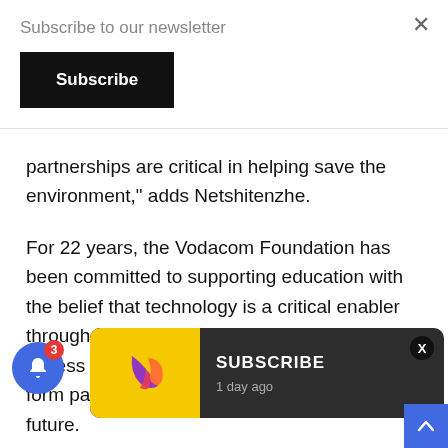Subscribe to our newsletter
Subscribe
partnerships are critical in helping save the environment,” adds Netshitenzhe.
For 22 years, the Vodacom Foundation has been committed to supporting education with the belief that technology is a critical enabler throughout the learning process. Equitable access to robust and quality education will form part of the foundation for South Africa’s future.
The partnership [...]dacom IC[...] orating environmental education into the Vodacom Mobile Education Programme and providing online training
[Figure (screenshot): Toast notification with yellow background showing a colorful arrow/play icon logo, text 'SUBSCRIBE' and '1 day ago']